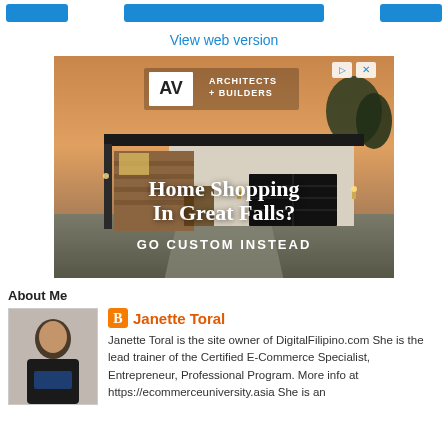[navigation buttons]
View web version
[Figure (photo): Advertisement for Architects + Builders showing a modern home with text 'Home Shopping In Great Falls? GO CUSTOM INSTEAD']
About Me
[Figure (photo): Profile photo of Janette Toral]
Janette Toral
Janette Toral is the site owner of DigitalFilipino.com She is the lead trainer of the Certified E-Commerce Specialist, Entrepreneur, Professional Program. More info at https://ecommerceuniversity.asia She is an